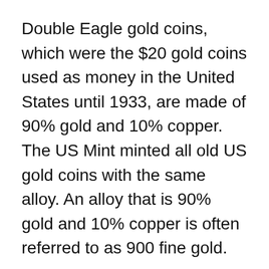Double Eagle gold coins, which were the $20 gold coins used as money in the United States until 1933, are made of 90% gold and 10% copper. The US Mint minted all old US gold coins with the same alloy. An alloy that is 90% gold and 10% copper is often referred to as 900 fine gold.
Old European coins are often 90% gold, such as Austrian 100 Coronas, Hungarian 100 Koronas, British Sovereigns, and the 20-franc gold coins minted by several European countries. Mexican 50 Pesos gold coins also are 900 fine gold.